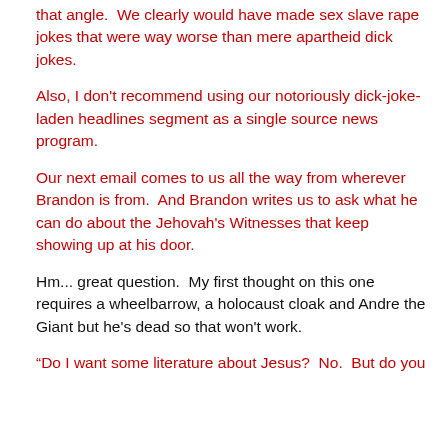that angle.  We clearly would have made sex slave rape jokes that were way worse than mere apartheid dick jokes.
Also, I don't recommend using our notoriously dick-joke-laden headlines segment as a single source news program.
Our next email comes to us all the way from wherever Brandon is from.  And Brandon writes us to ask what he can do about the Jehovah's Witnesses that keep showing up at his door.
Hm... great question.  My first thought on this one requires a wheelbarrow, a holocaust cloak and Andre the Giant but he's dead so that won't work.
“Do I want some literature about Jesus?  No.  But do you